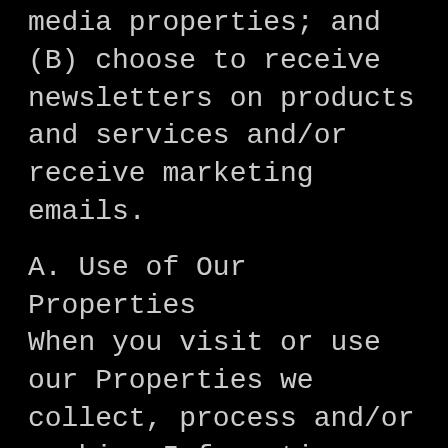media properties; and (B) choose to receive newsletters on products and services and/or receive marketing emails.
A. Use of Our Properties
When you visit or use our Properties we collect, process and/or combine Information about your use of those Properties, such as, but not limited to, your name, email address, photos, gender, birthday, location, an ID associated with the applicable third party platform or social networking account user files like photo and videos